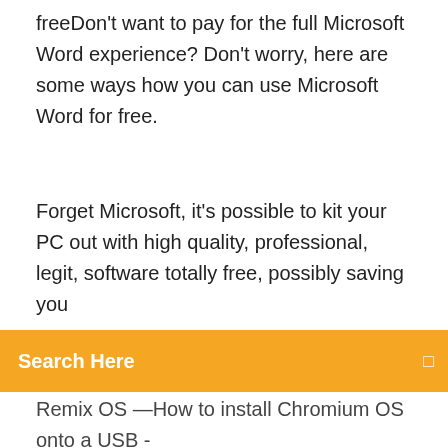freeDon't want to pay for the full Microsoft Word experience? Don't worry, here are some ways how you can use Microsoft Word for free.
[Figure (other): Orange search bar with text 'Search Here' and a search icon on the right]
Remix OS —How to install Chromium OS onto a USB - YouTube4:32youtube.com12. 2. 201320 tis. zhlédnutíTechnicalGit here, going to be showing you how to install Chromium on a USB flash drive. You will need the ISO image : http://chrom….hexxeh.net/download/vaHow to Install Windows 10 w/ USB Drive - YouTubehttps://youtube.com/watch26. 4. 2017159 tis. zhlédnutíA tutorial on how to install windows onto your PC with a USB Flash Drive. Download Media Creation Tool - https://www.microsoft.com/en-in/s...wnload/wiHow to use